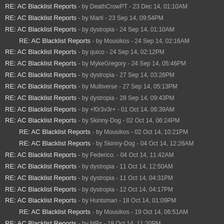RE: AC Blacklist Reports - by DeathCrowPT - 23 Dec 14, 01:10AM
RE: AC Blacklist Reports - by Marti - 23 Sep 14, 09:54PM
RE: AC Blacklist Reports - by dystropia - 24 Sep 14, 01:10AM
RE: AC Blacklist Reports - by Mousikos - 24 Sep 14, 02:16AM
RE: AC Blacklist Reports - by quico - 24 Sep 14, 02:12PM
RE: AC Blacklist Reports - by MykeGregory - 24 Sep 14, 05:46PM
RE: AC Blacklist Reports - by dystropia - 27 Sep 14, 03:26PM
RE: AC Blacklist Reports - by Multiverse - 27 Sep 14, 05:13PM
RE: AC Blacklist Reports - by dystropia - 28 Sep 14, 09:43PM
RE: AC Blacklist Reports - by +f0r3v3r+ - 01 Oct 14, 06:39AM
RE: AC Blacklist Reports - by Skinny-Dog - 02 Oct 14, 06:24PM
RE: AC Blacklist Reports - by Mousikos - 02 Oct 14, 10:21PM
RE: AC Blacklist Reports - by Skinny-Dog - 04 Oct 14, 12:26AM
RE: AC Blacklist Reports - by Federico. - 04 Oct 14, 11:42AM
RE: AC Blacklist Reports - by dystropia - 11 Oct 14, 12:50AM
RE: AC Blacklist Reports - by dystropia - 11 Oct 14, 04:31PM
RE: AC Blacklist Reports - by dystropia - 12 Oct 14, 04:17PM
RE: AC Blacklist Reports - by Huntsman - 18 Oct 14, 01:09PM
RE: AC Blacklist Reports - by Mousikos - 19 Oct 14, 06:51AM
RE: AC Blacklist Reports - by MPx - 18 Oct 14, 11:20PM
RE: AC Blacklist Reports - by MykeGregory - 21 Oct 14, 06:37PM
RE: AC Blacklist Reports - by MPx - 27 Oct 14, 09:30PM
RE: AC Blacklist Reports - by DeafieGamer - 27 Oct 14, 10:25PM
RE: AC Blacklist Reports - by quico - 29 Oct 14, 04:25PM
RE: AC Blacklist Reports - by Mousikos - 29 Oct 14, 06:15PM